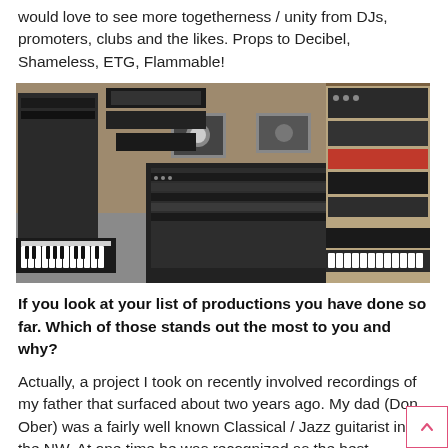would love to see more togetherness / unity from DJs, promoters, clubs and the likes. Props to Decibel, Shameless, ETG, Flammable!
[Figure (photo): A music studio packed with synthesizers, keyboards, mixing equipment and electronic music gear arranged on multiple shelves and stands.]
If you look at your list of productions you have done so far. Which of those stands out the most to you and why?
Actually, a project I took on recently involved recordings of my father that surfaced about two years ago. My dad (Don Ober) was a fairly well known Classical / Jazz guitarist in the NW. At one time he was recognized as the best